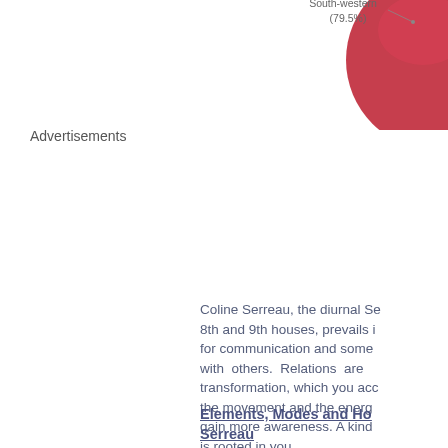[Figure (pie-chart): Partial pie chart showing South-western (79.5%) label with leader line, dark red/crimson large slice visible at top-right corner]
Advertisements
Coline Serreau, the diurnal Se... 8th and 9th houses, prevails i... for communication and some... with others. Relations are... transformation, which you acc... the movement and the energ... gain more awareness. A kind ... is rooted in you.
Elements, Modes and Ho... Serreau